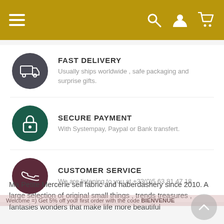[Figure (screenshot): Golden navigation bar with hamburger menu, search, user, and cart icons]
FAST DELIVERY - Usually ships worldwide , safe packaging and surprise gifts.
SECURE PAYMENT - With Systempay, Paypal or Bank transfert.
CUSTOMER SERVICE - We are listening to you at +33(0)5 63 81 47 18
Ma Petite Mercerie sell fabric and haberdashery since 2010. A large selection of original small things , trends treasures , fantasies wonders that make life more beautiful
Welcome =) Get 5% off your first order with the code BIENVENUE